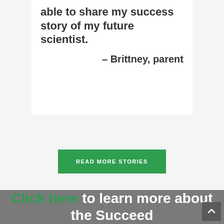able to share my success story of my future scientist.
– Brittney, parent
READ MORE STORIES
Click here to learn more about the Succeed